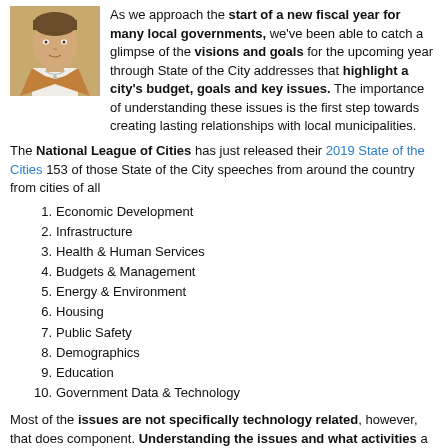[Figure (photo): Headshot photo of a woman wearing a tan blazer and necklace]
As we approach the start of a new fiscal year for many local governments, we've been able to catch a glimpse of the visions and goals for the upcoming year through State of the City addresses that highlight a city's budget, goals and key issues. The importance of understanding these issues is the first step towards creating lasting relationships with local municipalities.
The National League of Cities has just released their 2019 State of the Cities 153 of those State of the City speeches from around the country from cities of all
1. Economic Development
2. Infrastructure
3. Health & Human Services
4. Budgets & Management
5. Energy & Environment
6. Housing
7. Public Safety
8. Demographics
9. Education
10. Government Data & Technology
Most of the issues are not specifically technology related, however, that does component. Understanding the issues and what activities a city is planning to